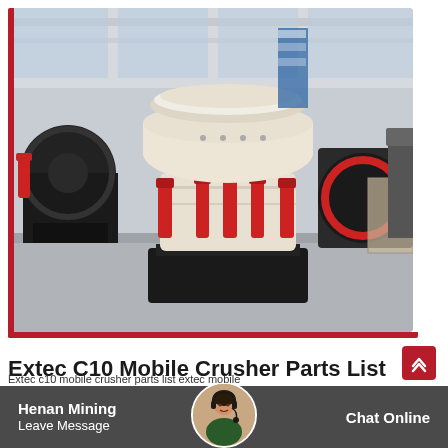[Figure (photo): Industrial warehouse interior showing a large cone crusher machine with cream/white upper body, black base, and red hydraulic cylinders around the middle section. Other heavy machinery visible in the background of a large industrial facility.]
Extec C10 Mobile Crusher Parts List
Extec c10 mobile crusher parts list extec mobile
Henan Mining
Leave Message
Chat Online